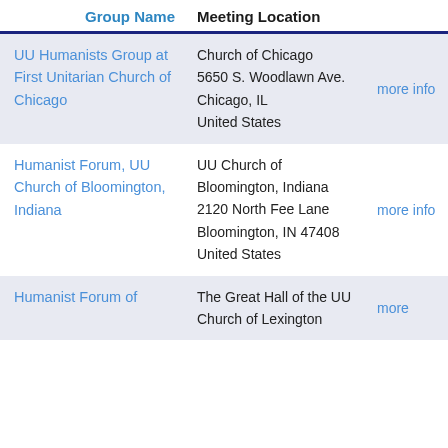| Group Name | Meeting Location |  |
| --- | --- | --- |
| UU Humanists Group at First Unitarian Church of Chicago | Church of Chicago
5650 S. Woodlawn Ave.
Chicago, IL
United States | more info |
| Humanist Forum, UU Church of Bloomington, Indiana | UU Church of Bloomington, Indiana
2120 North Fee Lane
Bloomington, IN 47408
United States | more info |
| Humanist Forum of | The Great Hall of the UU Church of Lexington | more |